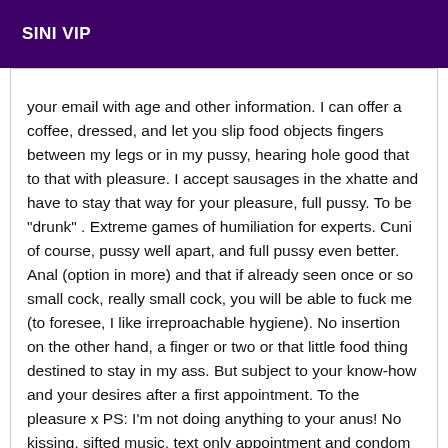SINI VIP
your email with age and other information. I can offer a coffee, dressed, and let you slip food objects fingers between my legs or in my pussy, hearing hole good that to that with pleasure. I accept sausages in the xhatte and have to stay that way for your pleasure, full pussy. To be "drunk" . Extreme games of humiliation for experts. Cuni of course, pussy well apart, and full pussy even better. Anal (option in more) and that if already seen once or so small cock, really small cock, you will be able to fuck me (to foresee, I like irreproachable hygiene). No insertion on the other hand, a finger or two or that little food thing destined to stay in my ass. But subject to your know-how and your desires after a first appointment. To the pleasure x PS: I'm not doing anything to your anus! No kissing, sifted music, text only appointment and condom mandatory. Available weekday or weekdays. I insist, feel like humiliating... thank you.